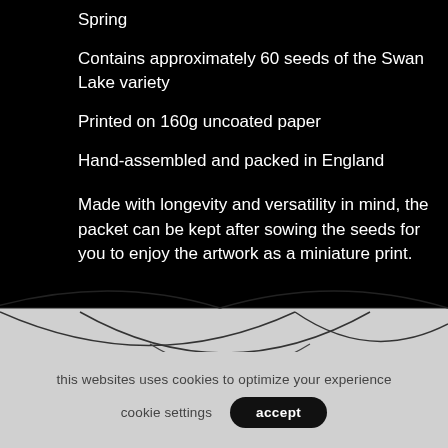Spring
Contains approximately 60 seeds of the Swan Lake variety
Printed on 160g uncoated paper
Hand-assembled and packed in England
Made with longevity and versatility in mind, the packet can be kept after sowing the seeds for you to enjoy the artwork as a miniature print.
[Figure (illustration): Decorative arc/wave line illustration on gray background, forming overlapping curved arches]
this websites uses cookies to optimize your experience
cookie settings
accept